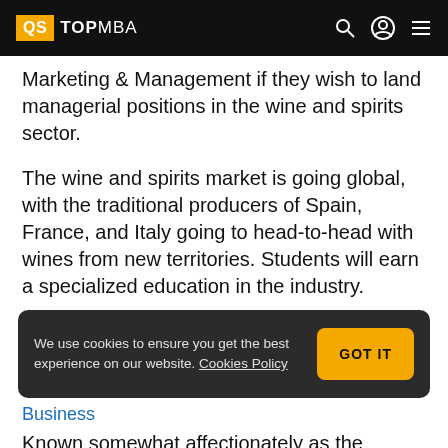QS TOPMBA
Marketing & Management if they wish to land managerial positions in the wine and spirits sector.
The wine and spirits market is going global, with the traditional producers of Spain, France, and Italy going to head-to-head with wines from new territories. Students will earn a specialized education in the industry.
We use cookies to ensure you get the best experience on our website. Cookies Policy  GOT IT
Business
Known somewhat affectionately as the “Touchy